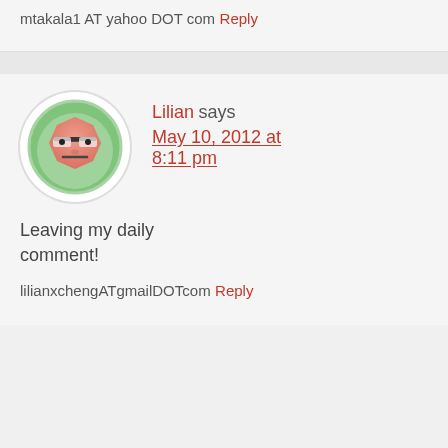mtakala1 AT yahoo DOT com
Reply
[Figure (illustration): Avatar icon of a cartoon face with sunglasses, octagon shaped, salmon/pink color, on green circular background with white border circle]
Lilian says May 10, 2012 at 8:11 pm
Leaving my daily comment!
lilianxchengATgmailDOTcom
Reply